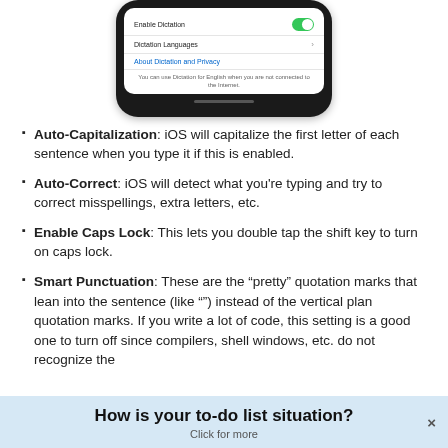[Figure (screenshot): iPhone screen showing Dictation settings: Enable Dictation toggle (on/green), Dictation Languages, About Dictation and Privacy link, and a note about offline English dictation.]
Auto-Capitalization: iOS will capitalize the first letter of each sentence when you type it if this is enabled.
Auto-Correct: iOS will detect what you're typing and try to correct misspellings, extra letters, etc.
Enable Caps Lock: This lets you double tap the shift key to turn on caps lock.
Smart Punctuation: These are the “pretty” quotation marks that lean into the sentence (like “”) instead of the vertical plan quotation marks. If you write a lot of code, this setting is a good one to turn off since compilers, shell windows, etc. do not recognize the
How is your to-do list situation?
Click for more